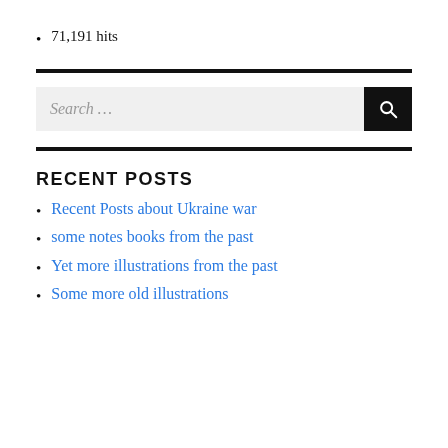71,191 hits
[Figure (other): Horizontal black divider line]
[Figure (other): Search bar with text input field showing 'Search ...' placeholder and a black search button with magnifying glass icon]
[Figure (other): Horizontal black divider line]
RECENT POSTS
Recent Posts about Ukraine war
some notes books from the past
Yet more illustrations from the past
Some more old illustrations